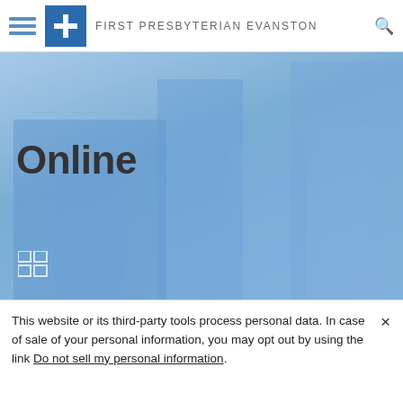First Presbyterian Evanston
[Figure (photo): Blue-tinted photo of church/office buildings as hero banner with the word 'Online' overlaid and a small grid icon in the lower left]
Online
This website or its third-party tools process personal data. In case of sale of your personal information, you may opt out by using the link Do not sell my personal information.